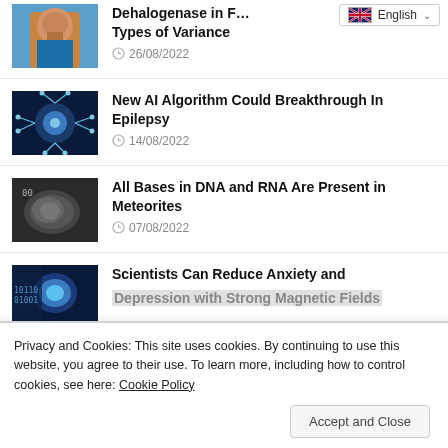[Figure (photo): Person with beard in blue shirt - thumbnail image]
Dehalogenase in F… Types of Variance
26/08/2022
[Figure (photo): Neural network / neuron glowing blue illustration]
New AI Algorithm Could Breakthrough In Epilepsy
14/08/2022
[Figure (photo): Dark meteorite rock photograph]
All Bases in DNA and RNA Are Present in Meteorites
07/08/2022
[Figure (photo): Brain scan / digital brain blue illustration]
Scientists Can Reduce Anxiety and Depression with Strong Magnetic Fields
[Figure (photo): Green plant / nature thumbnail]
Privacy and Cookies: This site uses cookies. By continuing to use this website, you agree to their use. To learn more, including how to control cookies, see here: Cookie Policy
Accept and Close